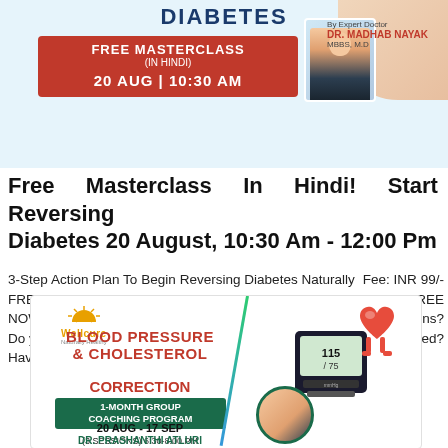[Figure (illustration): Diabetes Free Masterclass promotional banner with red box showing 'FREE MASTERCLASS (IN HINDI) 20 AUG | 10:30 AM', a doctor photo of Dr. Madhab Nayak MBBS M.D., and a hand illustration on blue background]
Free Masterclass In Hindi! Start Reversing Diabetes 20 August, 10:30 Am - 12:00 Pm
3-Step Action Plan To Begin Reversing Diabetes Naturally  Fee: INR 99/- FREE FOR THE FIRST 50 REGISTRATIONS REGISTER FOR FREE NOW Are you tired of taking diabetes medicines and insulin injections? Do you feel that diabetes is a never-ending disease and can't be healed? Have you given up on curi...
[Figure (illustration): Wellcure Blood Pressure & Cholesterol Correction 1-Month Group Coaching Program banner. 20 AUG - 17 SEP (3 SESSIONS) 6:30-8:00 PM. Dr. Prashanthi Atluri. Features red heart and blood pressure monitor imagery with a diagonal colored slash.]